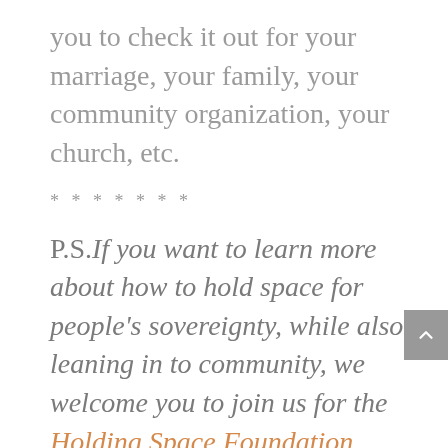you to check it out for your marriage, your family, your community organization, your church, etc.
*******
P.S.If you want to learn more about how to hold space for people’s sovereignty, while also leaning in to community, we welcome you to join us for the Holding Space Foundation Program. Registration just opened for the session that starts in October